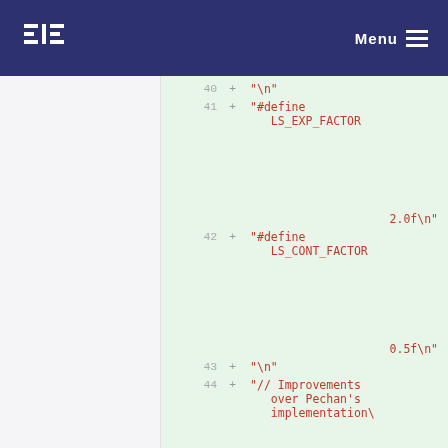Menu
40  + "\n"
41  + "#define LS_EXP_FACTOR
                    2.0f\n"
42  + "#define LS_CONT_FACTOR
                    0.5f\n"
43  + "\n"
44  + "// Improvements over Pechan's implementation\